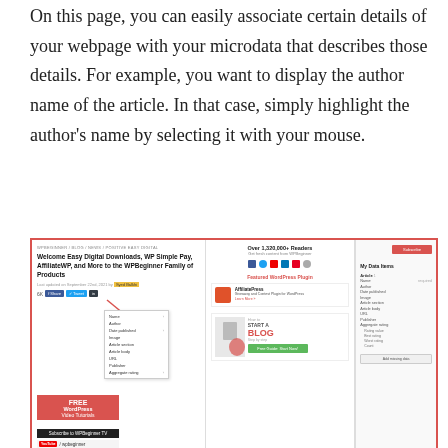On this page, you can easily associate certain details of your webpage with your microdata that describes those details. For example, you want to display the author name of the article. In that case, simply highlight the author's name by selecting it with your mouse.
[Figure (screenshot): Screenshot of WPBeginner article page showing microdata plugin interface with dropdown menu for associating data items including Name, Author, Date published, Image, Article section, Article body, URL, Publisher, Aggregate rating fields. Right panel shows 'My Data Items' sidebar.]